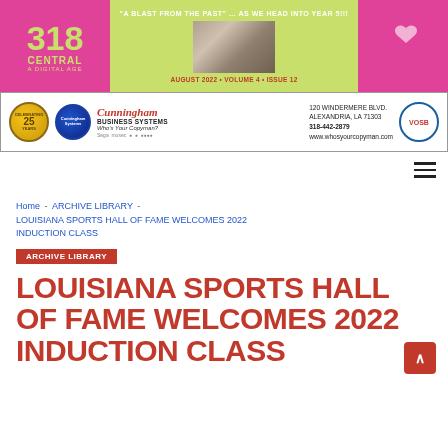318 CENTRAL A DIGITAL AGE — "A BLAST FROM THE PAST" … AS WE HEAD INTO YEAR 5!!! — AUGUST 2022 • VOLUME 4 • ISSUE 12
[Figure (advertisement): Cunningham Business Systems ad: 25 Years celebrating badge, logo circle, company name in cursive, 'Who's Your Copyman?', 120 WINDERMERE BLVD. ALEXANDRIA, LA 71303, 318-442-2879, www.whosyourcopyman.com, VOSB badge]
Home - ARCHIVE LIBRARY - LOUISIANA SPORTS HALL OF FAME WELCOMES 2022 INDUCTION CLASS
ARCHIVE LIBRARY
LOUISIANA SPORTS HALL OF FAME WELCOMES 2022 INDUCTION CLASS